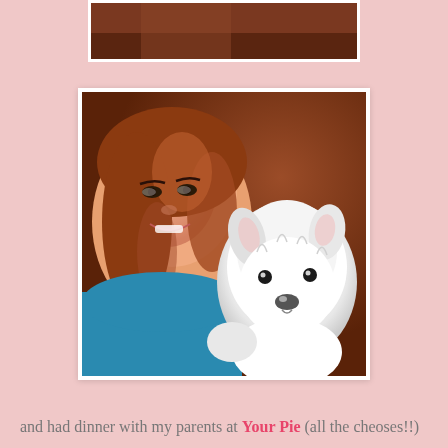[Figure (photo): Partial photo at top, cropped showing warm brown background (sofa/couch), top portion only visible]
[Figure (photo): Photo of a smiling woman with long reddish-brown hair wearing a blue shirt, holding a small fluffy white dog (West Highland White Terrier / Westie puppy), with a brown leather sofa in the background]
and had dinner with my parents at Your Pie (all the cheoses!!)